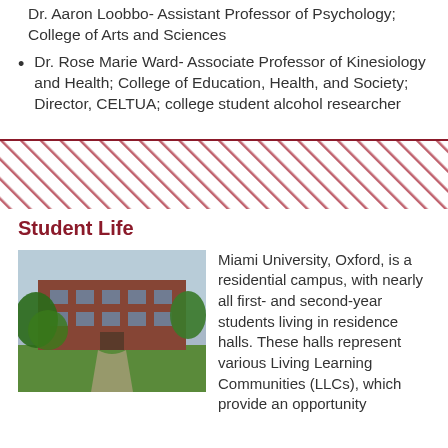Dr. Aaron Loobbo- Assistant Professor of Psychology; College of Arts and Sciences
Dr. Rose Marie Ward- Associate Professor of Kinesiology and Health; College of Education, Health, and Society; Director, CELTUA; college student alcohol researcher
[Figure (infographic): Red horizontal divider line above a diagonal red and white hatched/striped decorative band]
Student Life
[Figure (photo): Photograph of a red-brick university building with green trees in the foreground on a sunny day]
Miami University, Oxford, is a residential campus, with nearly all first- and second-year students living in residence halls. These halls represent various Living Learning Communities (LLCs), which provide an opportunity